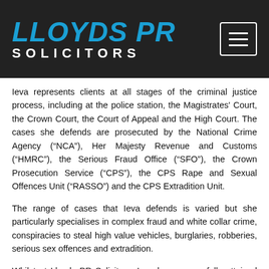LLOYDS PR SOLICITORS
Ieva represents clients at all stages of the criminal justice process, including at the police station, the Magistrates' Court, the Crown Court, the Court of Appeal and the High Court. The cases she defends are prosecuted by the National Crime Agency (“NCA”), Her Majesty Revenue and Customs (“HMRC”), the Serious Fraud Office (“SFO”), the Crown Prosecution Service (“CPS”), the CPS Rape and Sexual Offences Unit (“RASSO”) and the CPS Extradition Unit.
The range of cases that Ieva defends is varied but she particularly specialises in complex fraud and white collar crime, conspiracies to steal high value vehicles, burglaries, robberies, serious sex offences and extradition.
Whilst at Lloyds PR Solicitors, Ieva has successfully attained acquittals and discontinuances in many of her cases as well as having had investigations discontinued at an early stage prior to